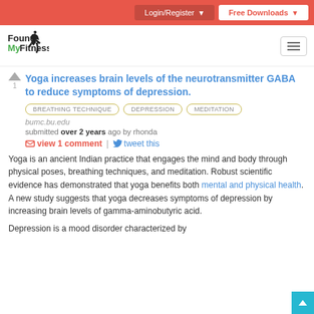Login/Register | Free Downloads
[Figure (logo): FoundMyFitness logo with runner silhouette]
Yoga increases brain levels of the neurotransmitter GABA to reduce symptoms of depression.
BREATHING TECHNIQUE
DEPRESSION
MEDITATION
bumc.bu.edu
submitted over 2 years ago by rhonda
view 1 comment | tweet this
Yoga is an ancient Indian practice that engages the mind and body through physical poses, breathing techniques, and meditation. Robust scientific evidence has demonstrated that yoga benefits both mental and physical health. A new study suggests that yoga decreases symptoms of depression by increasing brain levels of gamma-aminobutyric acid.
Depression is a mood disorder characterized by